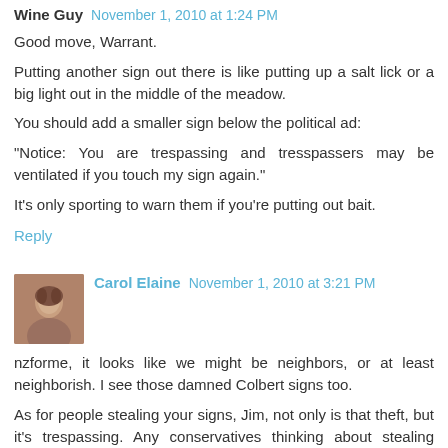Wine Guy  November 1, 2010 at 1:24 PM
Good move, Warrant.
Putting another sign out there is like putting up a salt lick or a big light out in the middle of the meadow.
You should add a smaller sign below the political ad:
"Notice: You are trespassing and tresspassers may be ventilated if you touch my sign again."
It's only sporting to warn them if you're putting out bait.
Reply
Carol Elaine  November 1, 2010 at 3:21 PM
nzforme, it looks like we might be neighbors, or at least neighborish. I see those damned Colbert signs too.
As for people stealing your signs, Jim, not only is that theft, but it's trespassing. Any conservatives thinking about stealing someone's signs might want to consider that they